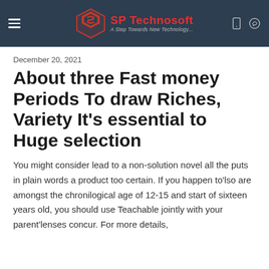SP Technosoft — A Step Towards New Technology
December 20, 2021
About three Fast money Periods To draw Riches, Variety It's essential to Huge selection
You might consider lead to a non-solution novel all the puts in plain words a product too certain. If you happen to'lso are amongst the chronilogical age of 12-15 and start of sixteen years old, you should use Teachable jointly with your parent'lenses concur. For more details,